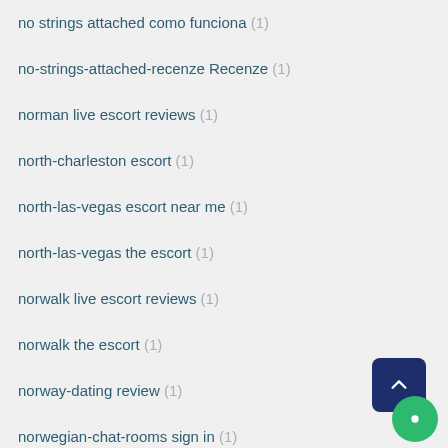no strings attached como funciona (1)
no-strings-attached-recenze Recenze (1)
norman live escort reviews (1)
north-charleston escort (1)
north-las-vegas escort near me (1)
north-las-vegas the escort (1)
norwalk live escort reviews (1)
norwalk the escort (1)
norway-dating review (1)
norwegian-chat-rooms sign in (1)